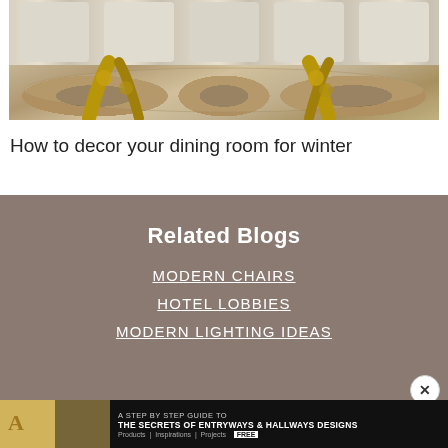[Figure (photo): Interior photo of a luxury dining room with beige upholstered chairs and gold/brass decorative table base]
How to decor your dining room for winter
Related Blogs
MODERN CHAIRS
HOTEL LOBBIES
MODERN LIGHTING IDEAS
[Figure (photo): Advertisement banner: A Step by Step Guide to The Secrets of Entryways & Hallways Designs — Products | Inspirations | Projects — FREE]